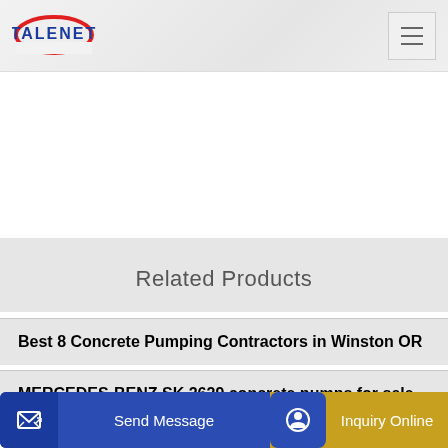TALENET
[Figure (logo): Talenet company logo with red oval and blue text]
Related Products
Best 8 Concrete Pumping Contractors in Winston OR
MERCEDES-BENZ SK 2629 concrete pumps for sale buy
Send Message
Inquiry Online